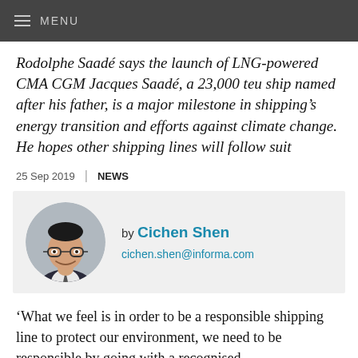MENU
Rodolphe Saadé says the launch of LNG-powered CMA CGM Jacques Saadé, a 23,000 teu ship named after his father, is a major milestone in shipping's energy transition and efforts against climate change. He hopes other shipping lines will follow suit
25 Sep 2019 | NEWS
[Figure (photo): Headshot of Cichen Shen, author, with byline and email address cichen.shen@informa.com]
'What we feel is in order to be a responsible shipping line to protect our environment, we need to be responsible by going with a recognised